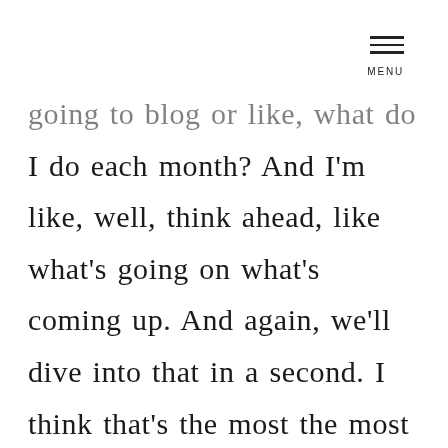MENU
going to blog or like, what do I do each month? And I'm like, well, think ahead, like what's going on what's coming up. And again, we'll dive into that in a second. I think that's the most the most important thing is learn to think ahead and learn to plan in advance. I